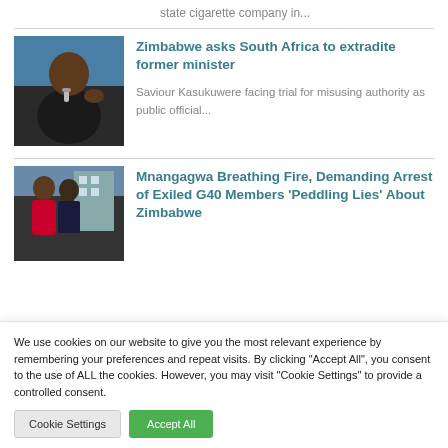state cigarette company in...
[Figure (photo): Man in suit speaking into microphone, pointing finger]
Zimbabwe asks South Africa to extradite former minister
Saviour Kasukuwere facing trial for misusing authority as public official...
[Figure (photo): Two men outdoors, one in uniform]
Mnangagwa Breathing Fire, Demanding Arrest of Exiled G40 Members 'Peddling Lies' About Zimbabwe
We use cookies on our website to give you the most relevant experience by remembering your preferences and repeat visits. By clicking “Accept All”, you consent to the use of ALL the cookies. However, you may visit "Cookie Settings" to provide a controlled consent.